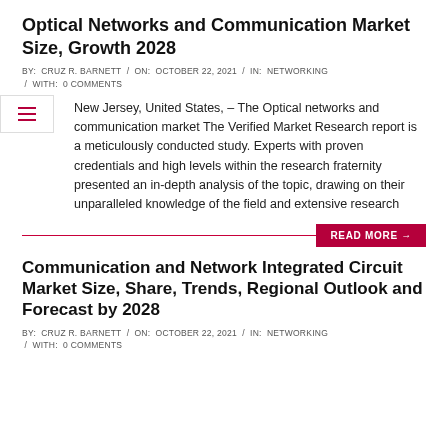Optical Networks and Communication Market Size, Growth 2028
BY:  CRUZ R. BARNETT  /  ON:  OCTOBER 22, 2021  /  IN:  NETWORKING  /  WITH:  0 COMMENTS
New Jersey, United States, – The Optical networks and communication market The Verified Market Research report is a meticulously conducted study. Experts with proven credentials and high levels within the research fraternity presented an in-depth analysis of the topic, drawing on their unparalleled knowledge of the field and extensive research
READ MORE →
Communication and Network Integrated Circuit Market Size, Share, Trends, Regional Outlook and Forecast by 2028
BY:  CRUZ R. BARNETT  /  ON:  OCTOBER 22, 2021  /  IN:  NETWORKING  /  WITH:  0 COMMENTS